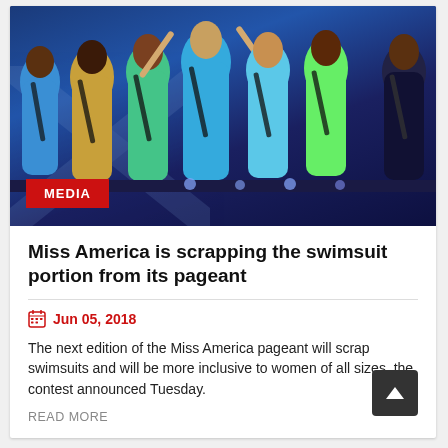[Figure (photo): Group of Miss America pageant contestants in swimsuits and sashes standing on a stage with blue stage lighting]
MEDIA
Miss America is scrapping the swimsuit portion from its pageant
Jun 05, 2018
The next edition of the Miss America pageant will scrap swimsuits and will be more inclusive to women of all sizes, the contest announced Tuesday.
READ MORE